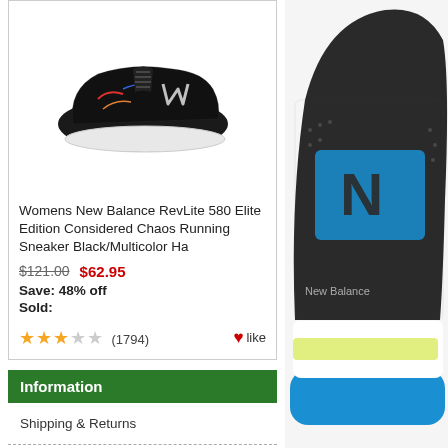[Figure (photo): Black New Balance RevLite 580 running sneaker with multicolor accents on white background]
Womens New Balance RevLite 580 Elite Edition Considered Chaos Running Sneaker Black/Multicolor Ha
$121.00  $62.95
Save: 48% off
Sold:
★★★☆☆ (1794)  ♥like
Information
Shipping & Returns
Privacy Notice
F.A.Q
Contact Us
[Figure (photo): Close-up of a colorful New Balance sneaker (blue, black, grey, yellow-green) showing the sole and side]